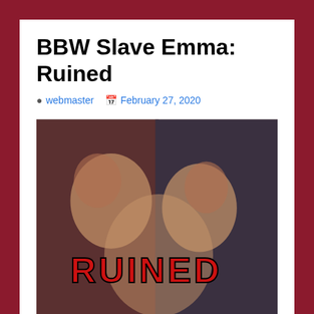BBW Slave Emma: Ruined
webmaster   February 27, 2020
[Figure (photo): Photo of two women with text overlay reading RUINED in red letters]
Emma hangs tight at consideration for Magick, thinking about what is coming up. When he enters it's reasonable he is in the state of mind to demolish her tits, pulling at her areolas and poking them with